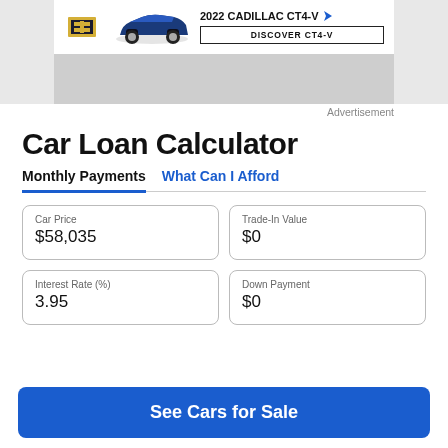[Figure (infographic): Advertisement banner for 2022 Cadillac CT4-V showing the Cadillac logo, a blue CT4-V sedan, the text '2022 CADILLAC CT4-V' with a cursor icon, and a 'DISCOVER CT4-V' button. Below is a gray placeholder area.]
Advertisement
Car Loan Calculator
Monthly Payments   What Can I Afford
Car Price
$58,035
Trade-In Value
$0
Interest Rate (%)
3.95
Down Payment
$0
See Cars for Sale